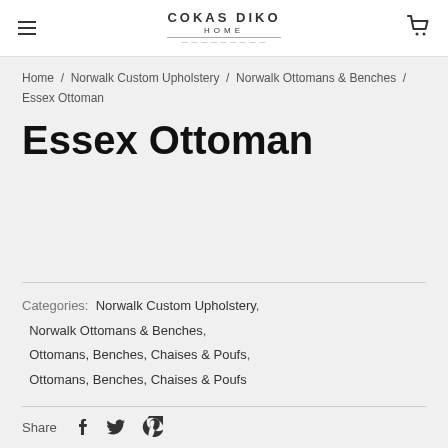COKAS DIKO HOME
Home / Norwalk Custom Upholstery / Norwalk Ottomans & Benches / Essex Ottoman
Essex Ottoman
Categories: Norwalk Custom Upholstery, Norwalk Ottomans & Benches, Ottomans, Benches, Chaises & Poufs, Ottomans, Benches, Chaises & Poufs
Share